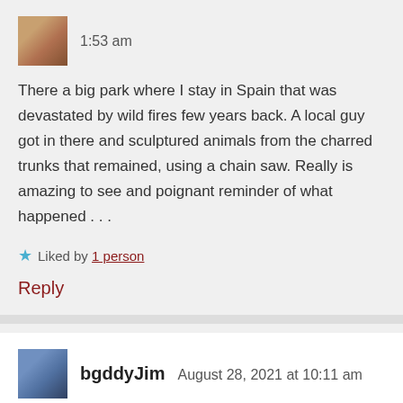1:53 am
There a big park where I stay in Spain that was devastated by wild fires few years back. A local guy got in there and sculptured animals from the charred trunks that remained, using a chain saw. Really is amazing to see and poignant reminder of what happened . . .
★ Liked by 1 person
Reply
bgddyJim  August 28, 2021 at 10:11 am
I think the key is to look at the science BEFORE the politicians. . . and look at the scientists themselves